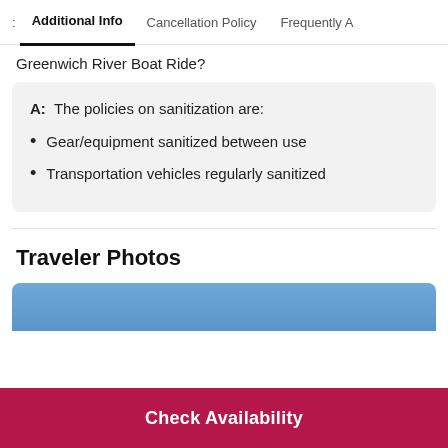Additional Info | Cancellation Policy | Frequently A
Greenwich River Boat Ride?
A:  The policies on sanitization are:
Gear/equipment sanitized between use
Transportation vehicles regularly sanitized
Traveler Photos
[Figure (photo): Traveler photo placeholder — blue gradient rectangle]
Check Availability